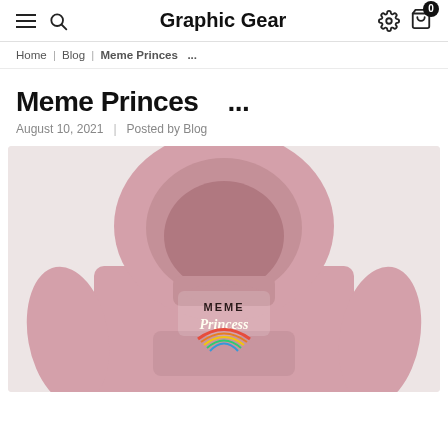Graphic Gear
Home | Blog | Meme Princes ...
Meme Princes   ...
August 10, 2021   Posted by Blog
[Figure (photo): A pink hoodie with a 'Meme Princess' graphic printed on the front, featuring a cartoon woman with an afro, rainbow, and clouds on a light gray background.]